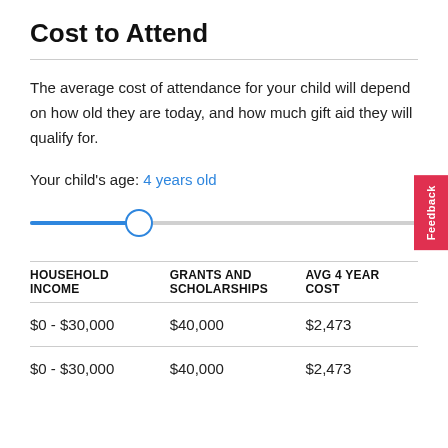Cost to Attend
The average cost of attendance for your child will depend on how old they are today, and how much gift aid they will qualify for.
Your child's age: 4 years old
| HOUSEHOLD INCOME | GRANTS AND SCHOLARSHIPS | AVG 4 YEAR COST |
| --- | --- | --- |
| $0 - $30,000 | $40,000 | $2,473 |
| $0 - $30,000 | $40,000 | $2,473 |